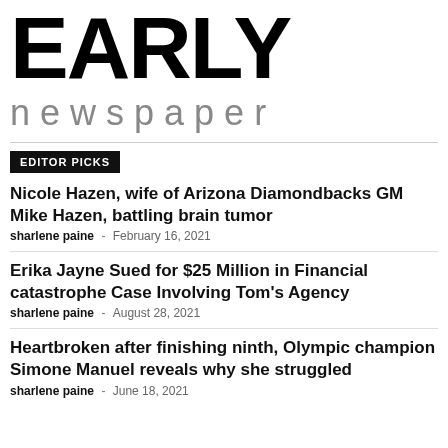EARLY newspaper
EDITOR PICKS
Nicole Hazen, wife of Arizona Diamondbacks GM Mike Hazen, battling brain tumor
sharlene paine  -  February 16, 2021
Erika Jayne Sued for $25 Million in Financial catastrophe Case Involving Tom's Agency
sharlene paine  -  August 28, 2021
Heartbroken after finishing ninth, Olympic champion Simone Manuel reveals why she struggled
sharlene paine  -  June 18, 2021